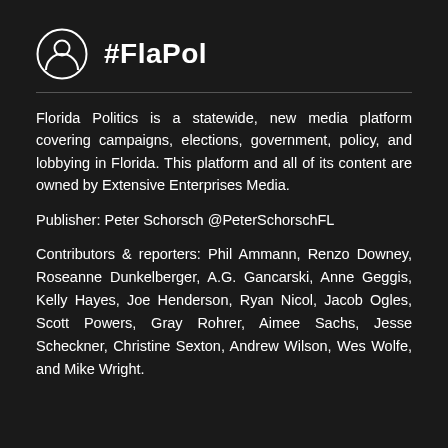#FlaPol
Florida Politics is a statewide, new media platform covering campaigns, elections, government, policy, and lobbying in Florida. This platform and all of its content are owned by Extensive Enterprises Media.
Publisher: Peter Schorsch @PeterSchorschFL
Contributors & reporters: Phil Ammann, Renzo Downey, Roseanne Dunkelberger, A.G. Gancarski, Anne Geggis, Kelly Hayes, Joe Henderson, Ryan Nicol, Jacob Ogles, Scott Powers, Gray Rohrer, Aimee Sachs, Jesse Scheckner, Christine Sexton, Andrew Wilson, Wes Wolfe, and Mike Wright.